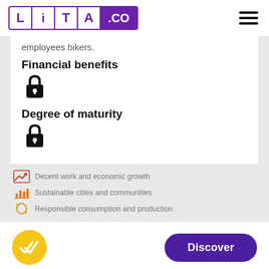[Figure (logo): LiTA.co logo with purple bordered boxes for each letter L, i, T, A and a solid purple background for .co]
employees bikers.
Financial benefits
[Figure (illustration): Lock/padlock icon indicating locked/restricted content]
Degree of maturity
[Figure (illustration): Lock/padlock icon indicating locked/restricted content]
Decent work and economic growth
Sustainable cities and communities
Responsible consumption and production
[Figure (illustration): Yellow circular badge with white double checkmark, and a purple Discover button]